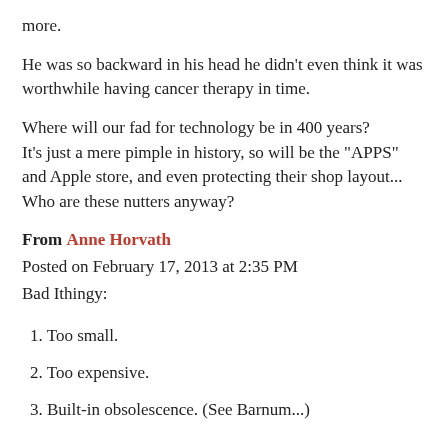more.
He was so backward in his head he didn't even think it was worthwhile having cancer therapy in time.
Where will our fad for technology be in 400 years?
It's just a mere pimple in history, so will be the "APPS" and Apple store, and even protecting their shop layout...
Who are these nutters anyway?
From Anne Horvath
Posted on February 17, 2013 at 2:35 PM
Bad Ithingy:
1. Too small.
2. Too expensive.
3. Built-in obsolescence. (See Barnum...)